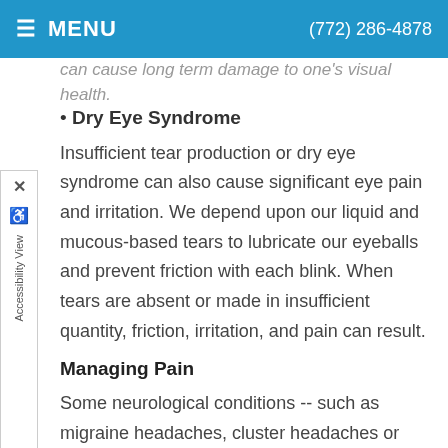MENU   (772) 286-4878
can cause long term damage to one's visual health.
• Dry Eye Syndrome
Insufficient tear production or dry eye syndrome can also cause significant eye pain and irritation. We depend upon our liquid and mucous-based tears to lubricate our eyeballs and prevent friction with each blink. When tears are absent or made in insufficient quantity, friction, irritation, and pain can result.
Managing Pain
Some neurological conditions -- such as migraine headaches, cluster headaches or trigeminal neuralgia -- can also appear with primary symptoms of eye pain. See your eye care provider if these symptoms persist or if you are experiencing frequent